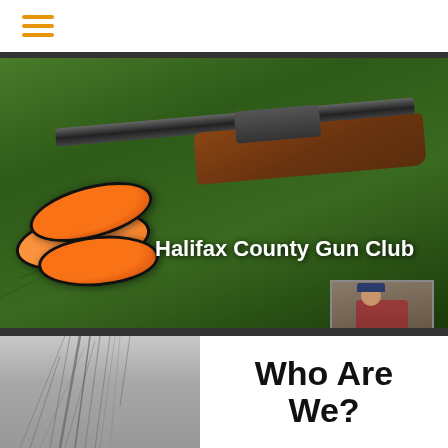[Figure (screenshot): Hamburger menu icon with three orange horizontal lines]
[Figure (photo): Hero banner photo showing a shotgun resting on green grass with two orange clay pigeon targets. Text overlay reads 'Halifax County Gun Club'. A memorial portrait thumbnail is in the lower right corner with text 'In Memory Ryan Zelbia'.]
Halifax County Gun Club
[Figure (photo): Grayscale photo showing bare tree branches against a gray sky]
Who Are We?